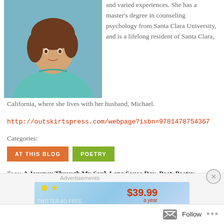[Figure (photo): Portrait photo of a woman with brown curly hair wearing a teal/mint sleeveless top, against a grey-blue studio background.]
and varied experiences. She has a master's degree in counseling psychology from Santa Clara University, and is a lifelong resident of Santa Clara, California, where she lives with her husband, Michael.
http://outskirtspress.com/webpage?isbn=9781478754367
Categories:
AT THIS BLOG
POETRY
Tags: A Journey Through My Soul, Lena Sousa Day, Poet, Poetry
Advertisements
[Figure (screenshot): Advertisement banner showing $39.99 a year with a WordPress logo and stars.]